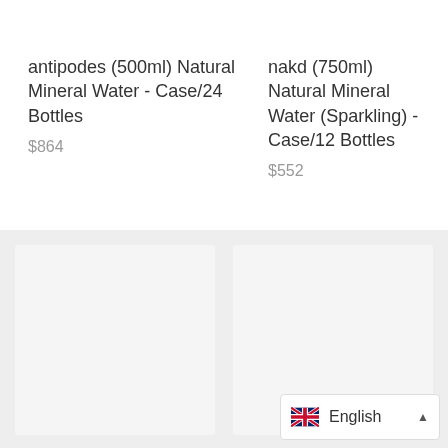antipodes (500ml) Natural Mineral Water - Case/24 Bottles
$864
nakd (750ml) Natural Mineral Water (Sparkling) - Case/12 Bottles
$552
English